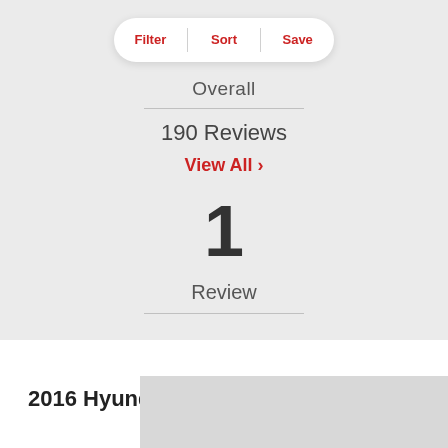[Figure (screenshot): Filter / Sort / Save tab bar in white pill shape]
Overall
190 Reviews
View All >
1
Review
2016 Hyundai Elantra - Fletcher...